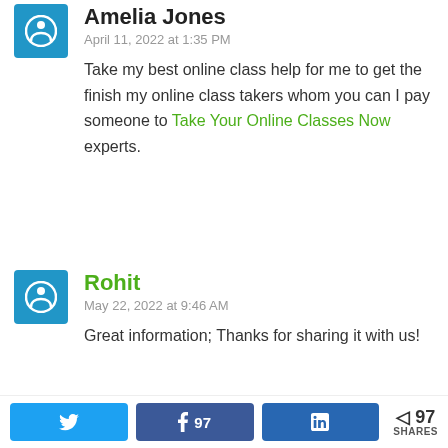Amelia Jones
April 11, 2022 at 1:35 PM
Take my best online class help for me to get the finish my online class takers whom you can I pay someone to Take Your Online Classes Now experts.
Rohit
May 22, 2022 at 9:46 AM
Great information; Thanks for sharing it with us!
97 SHARES